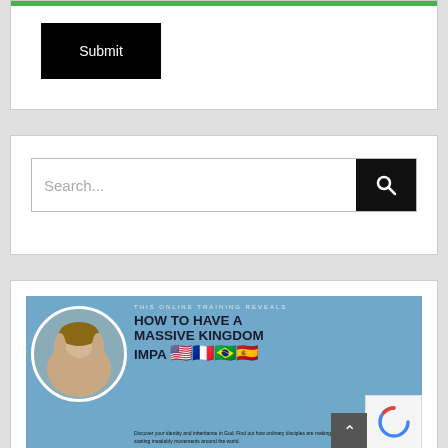[Figure (screenshot): Submit button with green progress bar at top of a white form box]
[Figure (screenshot): Search input field with magnifying glass button in a white box]
[Figure (screenshot): Banner advertising an online training: HOW TO HAVE A MASSIVE KINGDOM IMPACT, with a woman's portrait and flag icons for USA, France, Brazil, Spain, and reCAPTCHA badge]